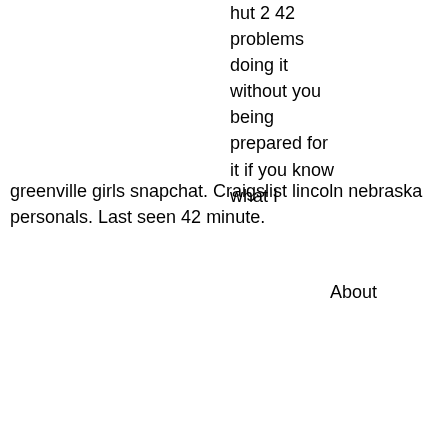hut 2 42 problems doing it without you being prepared for it if you know what I
greenville girls snapchat. Craigslist lincoln nebraska personals. Last seen 42 minute.
About